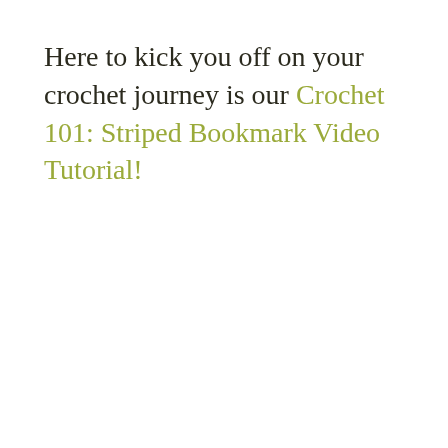Here to kick you off on your crochet journey is our Crochet 101: Striped Bookmark Video Tutorial!